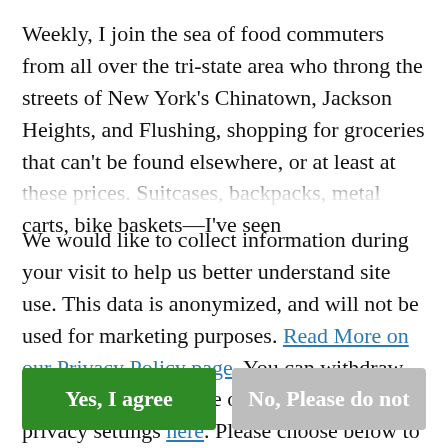Weekly, I join the sea of food commuters from all over the tri-state area who throng the streets of New York's Chinatown, Jackson Heights, and Flushing, shopping for groceries that can't be found elsewhere, or at least at these prices. Suitcases, backpacks, metal carts, bike baskets—I've seen
We would like to collect information during your visit to help us better understand site use. This data is anonymized, and will not be used for marketing purposes. Read More on our Privacy Policy page. You can withdraw permission at any time or update your privacy settings here. Please choose below to continue.
Yes, I agree
No, Please do not